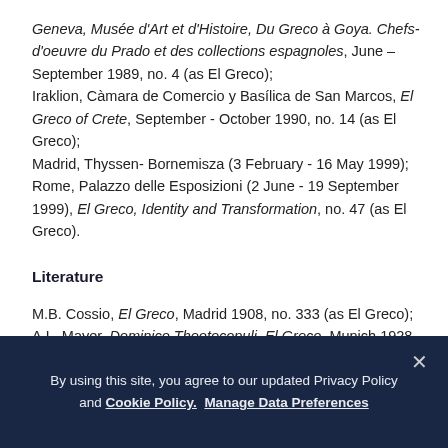Geneva, Musée d'Art et d'Histoire, Du Greco à Goya. Chefs-d'oeuvre du Prado et des collections espagnoles, June – September 1989, no. 4 (as El Greco); Iraklion, Càmara de Comercio y Basílica de San Marcos, El Greco of Crete, September - October 1990, no. 14 (as El Greco); Madrid, Thyssen-Bornemisza (3 February - 16 May 1999); Rome, Palazzo delle Esposizioni (2 June - 19 September 1999), El Greco, Identity and Transformation, no. 47 (as El Greco).
Literature
M.B. Cossio, El Greco, Madrid 1908, no. 333 (as El Greco); A.L. Mayer, Dominico Theotocopuli, El Greco, Munich 1928, no. 93 (as El Greco, circa 1587-90); J. Camón Aznar, Dominico Greco, Madrid 1950, pp. 648-49, no. 169 (as El Greco, circa 1587-90);
By using this site, you agree to our updated Privacy Policy and Cookie Policy. Manage Data Preferences